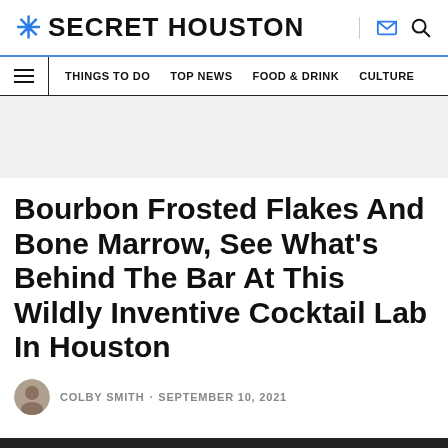* SECRET HOUSTON
THINGS TO DO   TOP NEWS   FOOD & DRINK   CULTURE
Bourbon Frosted Flakes And Bone Marrow, See What's Behind The Bar At This Wildly Inventive Cocktail Lab In Houston
COLBY SMITH · SEPTEMBER 10, 2021